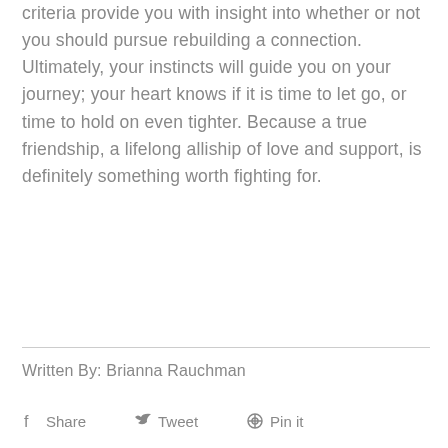criteria provide you with insight into whether or not you should pursue rebuilding a connection. Ultimately, your instincts will guide you on your journey; your heart knows if it is time to let go, or time to hold on even tighter. Because a true friendship, a lifelong alliship of love and support, is definitely something worth fighting for.
Written By: Brianna Rauchman
Share   Tweet   Pin it